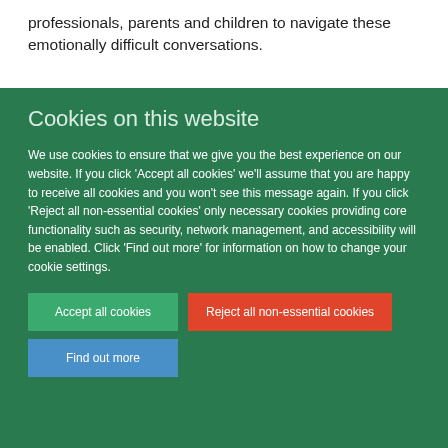professionals, parents and children to navigate these emotionally difficult conversations.
Cookies on this website
We use cookies to ensure that we give you the best experience on our website. If you click 'Accept all cookies' we'll assume that you are happy to receive all cookies and you won't see this message again. If you click 'Reject all non-essential cookies' only necessary cookies providing core functionality such as security, network management, and accessibility will be enabled. Click 'Find out more' for information on how to change your cookie settings.
Accept all cookies
Reject all non-essential cookies
Find out more